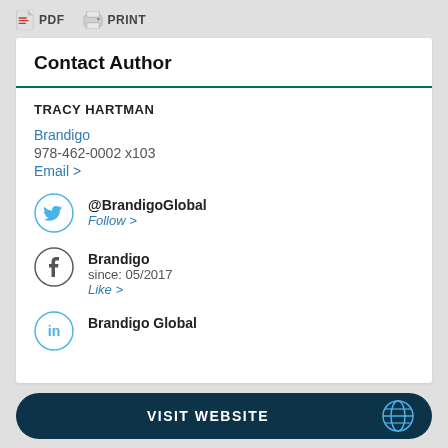PDF  PRINT
Contact Author
TRACY HARTMAN
Brandigo
978-462-0002 x103
Email >
@BrandigoGlobal
Follow >
Brandigo
since: 05/2017
Like >
Brandigo Global
VISIT WEBSITE